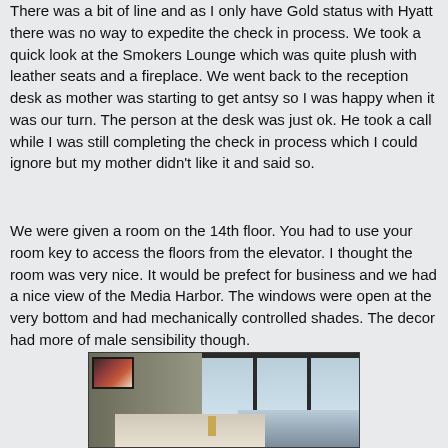There was a bit of line and as I only have Gold status with Hyatt there was no way to expedite the check in process. We took a quick look at the Smokers Lounge which was quite plush with leather seats and a fireplace. We went back to the reception desk as mother was starting to get antsy so I was happy when it was our turn. The person at the desk was just ok. He took a call while I was still completing the check in process which I could ignore but my mother didn't like it and said so.
We were given a room on the 14th floor. You had to use your room key to access the floors from the elevator. I thought the room was very nice. It would be prefect for business and we had a nice view of the Media Harbor. The windows were open at the very bottom and had mechanically controlled shades. The decor had more of male sensibility though.
[Figure (photo): Interior photo of a hotel room showing a bed in the foreground, artwork on the left wall, and large floor-to-ceiling windows on the right with a city harbor view visible outside.]